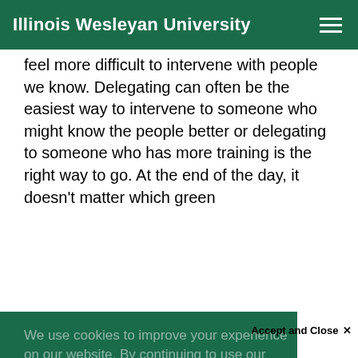Illinois Wesleyan University
feel more difficult to intervene with people we know. Delegating can often be the easiest way to intervene to someone who might know the people better or delegating to someone who has more training is the right way to go. At the end of the day, it doesn't matter which green
We use cookies to improve your experience on our website. By continuing to use our site...
Accept and Close ✕
Your browser settings do not allow cross-site tracking for advertising. Click on this page to allow AdRoll to use cross-site tracking to tailor ads to you. Learn more or opt out of this AdRoll tracking by clicking here. This message only appears once.